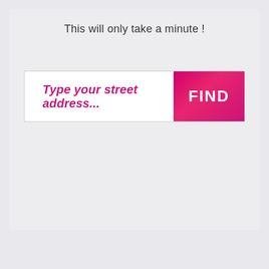This will only take a minute !
[Figure (screenshot): A search bar UI element with a text input placeholder reading 'Type your street address...' in pink/magenta bold text, and a pink/magenta 'FIND' button on the right.]